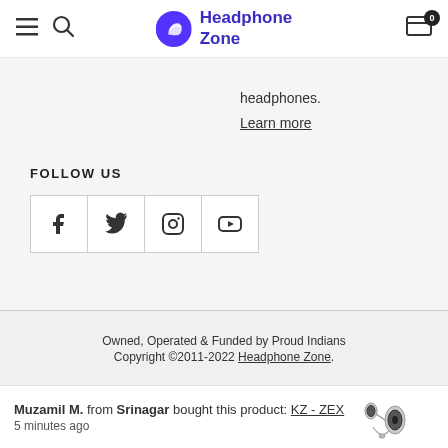Headphone Zone
headphones.
Learn more
FOLLOW US
[Figure (other): Social media icons: Facebook, Twitter, Instagram, YouTube in bordered boxes]
Owned, Operated & Funded by Proud Indians
Copyright ©2011-2022 Headphone Zone.
Muzamil M. from Srinagar bought this product: KZ - ZEX
5 minutes ago